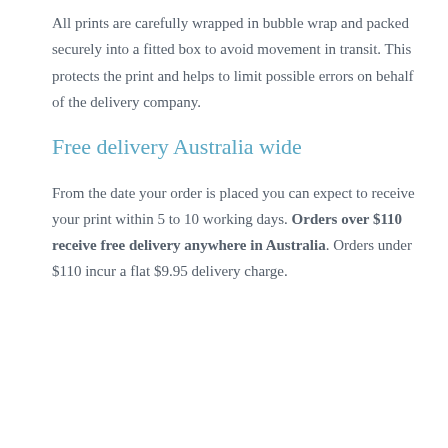All prints are carefully wrapped in bubble wrap and packed securely into a fitted box to avoid movement in transit. This protects the print and helps to limit possible errors on behalf of the delivery company.
Free delivery Australia wide
From the date your order is placed you can expect to receive your print within 5 to 10 working days. Orders over $110 receive free delivery anywhere in Australia. Orders under $110 incur a flat $9.95 delivery charge.